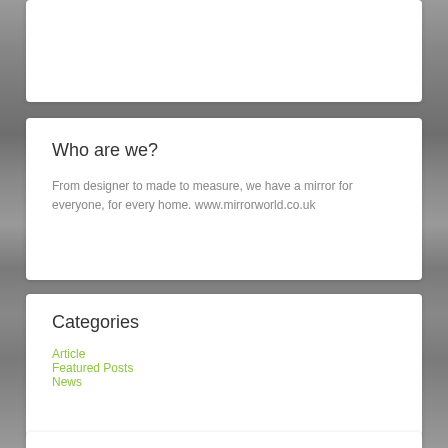[Figure (photo): Background showing furniture/mirror display area with dark metallic surfaces and shelving]
Who are we?
From designer to made to measure, we have a mirror for everyone, for every home. www.mirrorworld.co.uk
Categories
Article
Featured Posts
News